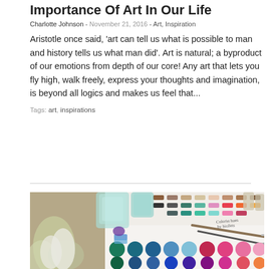Importance Of Art In Our Life
Charlotte Johnson - November 21, 2016 - Art, Inspiration
Aristotle once said, 'art can tell us what is possible to man and history tells us what man did'. Art is natural; a byproduct of our emotions from depth of our core! Any art that lets you fly high, walk freely, express your thoughts and imagination, is beyond all logics and makes us feel that...
Tags: art, inspirations
[Figure (photo): Watercolor paint palette with multiple colorful paint circles, color swatches on paper, paintbrushes, a glass jar with water, and small paint jars in the background. The palette shows a wide range of colors including teal, green, blue, red, pink, purple and more.]